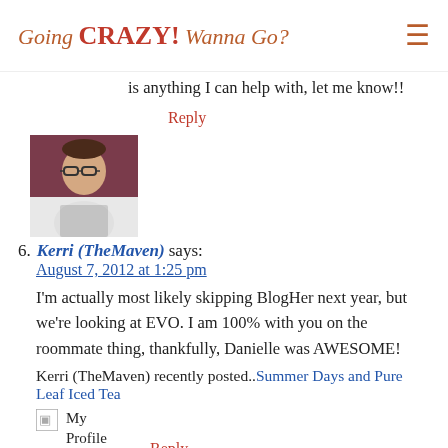Going CRAZY! Wanna Go?
is anything I can help with, let me know!!
Reply
[Figure (photo): Avatar photo of a person with glasses against a dark red/maroon background]
6. Kerri (TheMaven) says: August 7, 2012 at 1:25 pm
I'm actually most likely skipping BlogHer next year, but we're looking at EVO. I am 100% with you on the roommate thing, thankfully, Danielle was AWESOME!
Kerri (TheMaven) recently posted..Summer Days and Pure Leaf Iced Tea
Reply
[Figure (photo): Small icon placeholder image and avatar photo of a person in an orange shirt]